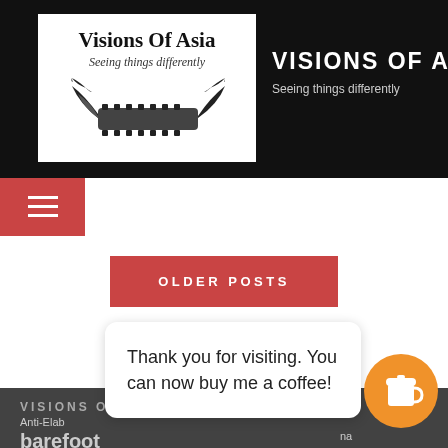[Figure (logo): Visions Of Asia logo with eagle/film strip graphic, white background, text 'Visions Of Asia' and 'Seeing things differently']
VISIONS OF ASIA
Seeing things differently
[Figure (infographic): Red hamburger/menu button icon]
OLDER POSTS
VISIONS OF ASIA'S MAIN TAGS
Thank you for visiting. You can now buy me a coffee!
Anti-Elab
barefoot
china
danger drone Drone Photography extradition bill hiking